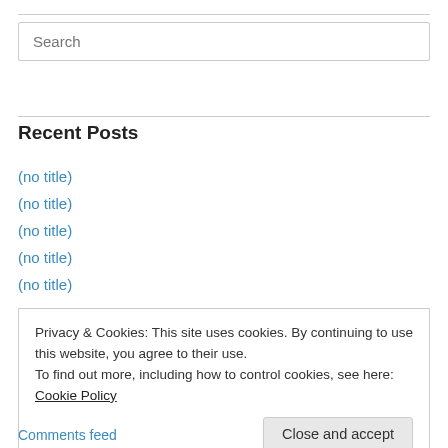[Figure (screenshot): Search input box with placeholder text 'Search']
Recent Posts
(no title)
(no title)
(no title)
(no title)
(no title)
Privacy & Cookies: This site uses cookies. By continuing to use this website, you agree to their use.
To find out more, including how to control cookies, see here: Cookie Policy
Comments feed